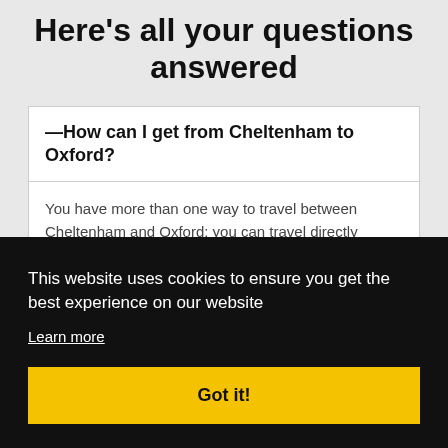Here's all your questions answered
—How can I get from Cheltenham to Oxford?
You have more than one way to travel between Cheltenham and Oxford: you can travel directly between the locations by bus (Stagecoach...
This website uses cookies to ensure you get the best experience on our website
Learn more
Got it!
Cheltenham to Oxford: